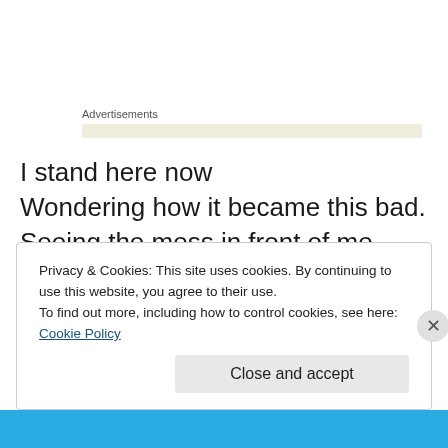Advertisements
I stand here now
Wondering how it became this bad.
Seeing the mess in front of me,
I wonder how he is not dead.
His eyes glossy,
He shares his pain.
Privacy & Cookies: This site uses cookies. By continuing to use this website, you agree to their use.
To find out more, including how to control cookies, see here: Cookie Policy